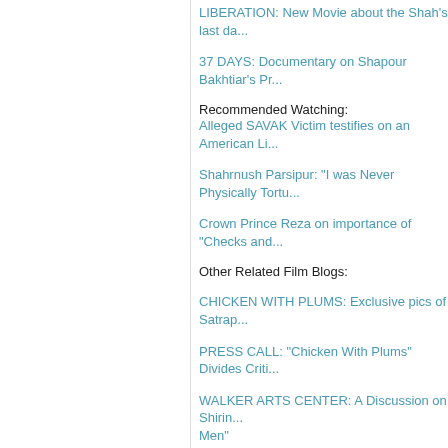LIBERATION: New Movie about the Shah's last da...
37 DAYS: Documentary on Shapour Bakhtiar's Pr...
Recommended Watching:
Alleged SAVAK Victim testifies on an American Li...
Shahrnush Parsipur: "I was Never Physically Tortu...
Crown Prince Reza on importance of "Checks and...
Other Related Film Blogs:
CHICKEN WITH PLUMS: Exclusive pics of Satrap...
PRESS CALL: "Chicken With Plums" Divides Criti...
WALKER ARTS CENTER: A Discussion on Shirin... Men"
CHICKEN WITH PLUMS: Official Trailer of Marjan... New Film
Recently by Darius Kadivar
TOMBSTONE: Bidding Goodbye to Iranian.com (ers)
ROYAL PREGNANCY: Prince William, Duchess of Cambric... Pregnancy...